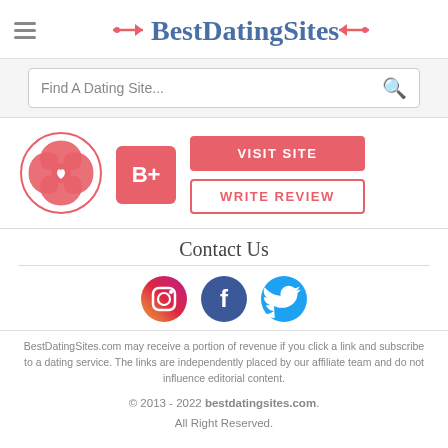BestDatingSites
Find A Dating Site...
[Figure (logo): Pink floral/cross knot logo for a dating site]
B+
VISIT SITE
WRITE REVIEW
Contact Us
[Figure (illustration): Three social media icons: Instagram (gradient), Facebook (blue), Twitter (light blue)]
BestDatingSites.com may receive a portion of revenue if you click a link and subscribe to a dating service. The links are independently placed by our affiliate team and do not influence editorial content.
© 2013 - 2022 bestdatingsites.com. All Right Reserved.